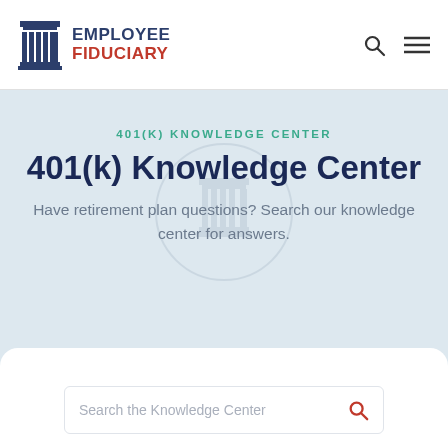[Figure (logo): Employee Fiduciary logo with column icon and two-line text: EMPLOYEE FIDUCIARY]
401(K) KNOWLEDGE CENTER
401(k) Knowledge Center
Have retirement plan questions? Search our knowledge center for answers.
Search the Knowledge Center